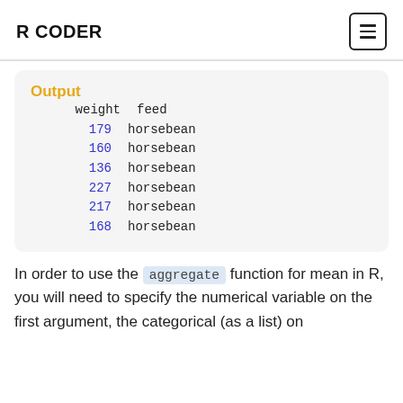R CODER
Output
| weight | feed |
| --- | --- |
| 179 | horsebean |
| 160 | horsebean |
| 136 | horsebean |
| 227 | horsebean |
| 217 | horsebean |
| 168 | horsebean |
In order to use the aggregate function for mean in R, you will need to specify the numerical variable on the first argument, the categorical (as a list) on